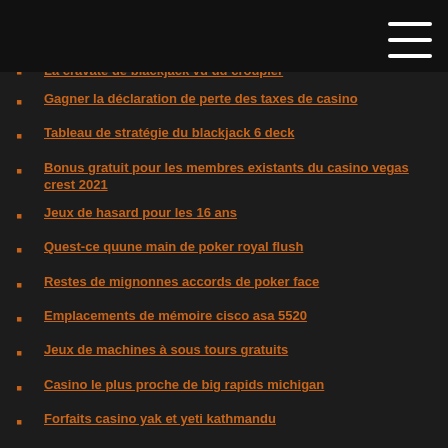La cravate de blackjack vu du croupier
Gagner la déclaration de perte des taxes de casino
Tableau de stratégie du blackjack 6 deck
Bonus gratuit pour les membres existants du casino vegas crest 2021
Jeux de hasard pour les 16 ans
Quest-ce quune main de poker royal flush
Restes de mignonnes accords de poker face
Emplacements de mémoire cisco asa 5520
Jeux de machines à sous tours gratuits
Casino le plus proche de big rapids michigan
Forfaits casino yak et yeti kathmandu
Sites de poker en ligne usa mobile
Como se apuesta al blackjack